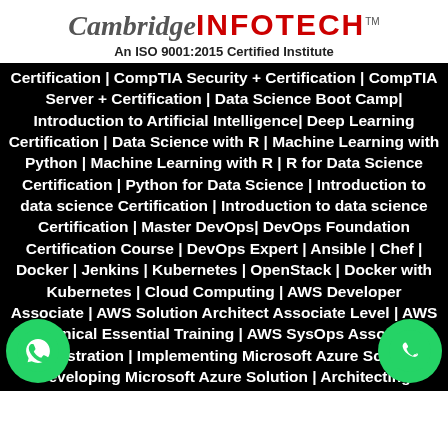[Figure (logo): Cambridge INFOTECH logo with TM mark]
An ISO 9001:2015 Certified Institute
Certification | CompTIA Security + Certification | CompTIA Server + Certification | Data Science Boot Camp| Introduction to Artificial Intelligence| Deep Learning Certification | Data Science with R | Machine Learning with Python | Machine Learning with R | R for Data Science Certification | Python for Data Science | Introduction to data science Certification | Introduction to data science Certification | Master DevOps| DevOps Foundation Certification Course | DevOps Expert | Ansible | Chef | Docker | Jenkins | Kubernetes | OpenStack | Docker with Kubernetes | Cloud Computing | AWS Developer Associate | AWS Solution Architect Associate Level | AWS Technical Essential Training | AWS SysOps Associate Administration | Implementing Microsoft Azure Solution | Developing Microsoft Azure Solution | Architecting Microsoft Azure Solution | VMware- vSphere 6.0 | CCNA R&S | CCNA Security | CCNP R&S | CCNP Security | CCIE | Language Programming | C, C++ | Java core | Java Advance | MATLAB | Python Intermediate | Advance | Python with R | ASP.Net | MCSA 2012 SE | PMP Certifications | Change Management | Prince 2 Foundation Certification | Prince 2 Foundation and Practitioner